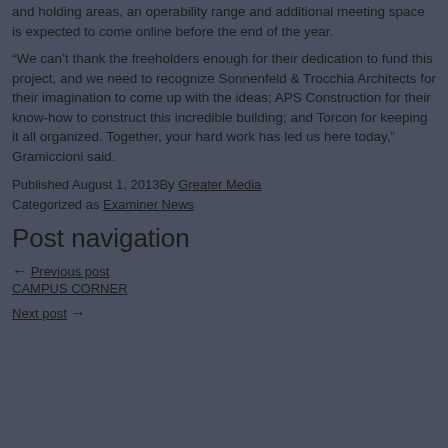and holding areas, an operability range and additional meeting space is expected to come online before the end of the year.
“We can’t thank the freeholders enough for their dedication to fund this project, and we need to recognize Sonnenfeld & Trocchia Architects for their imagination to come up with the ideas; APS Construction for their know-how to construct this incredible building; and Torcon for keeping it all organized. Together, your hard work has led us here today,” Gramiccioni said.
Published August 1, 2013By Greater Media
Categorized as Examiner News
Post navigation
← Previous post
CAMPUS CORNER
Next post →